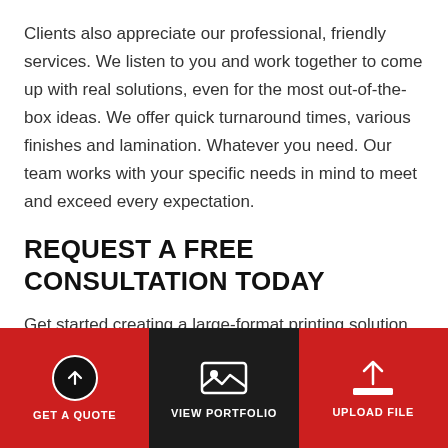Clients also appreciate our professional, friendly services. We listen to you and work together to come up with real solutions, even for the most out-of-the-box ideas. We offer quick turnaround times, various finishes and lamination. Whatever you need. Our team works with your specific needs in mind to meet and exceed every expectation.
REQUEST A FREE CONSULTATION TODAY
Get started creating a large-format printing solution by requesting a quote or consultation today. Our team looks forward to working with you.
[Figure (other): Bottom navigation bar with three items: GET A QUOTE (dark background, arrow up icon in circle), VIEW PORTFOLIO (dark center background, landscape image icon), UPLOAD FILE (red background, upload icon)]